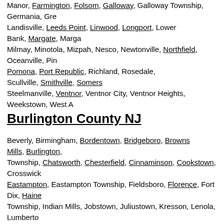Manor, Farmington, Folsom, Galloway, Galloway Township, Germania, Gr... Landisville, Leeds Point, Linwood, Longport, Lower Bank, Margate, Marga... Milmay, Minotola, Mizpah, Nesco, Newtonville, Northfield, Oceanville, Pin... Pomona, Port Republic, Richland, Rosedale, Scullville, Smithville, Somers... Steelmanville, Ventnor, Ventnor City, Ventnor Heights, Weekstown, West A...
Burlington County NJ
Beverly, Birmingham, Bordentown, Bridgeboro, Browns Mills, Burlington, ... Township, Chatsworth, Chesterfield, Cinnaminson, Cookstown, Crosswick... Eastampton, Eastampton Township, Fieldsboro, Florence, Fort Dix, Haine... Township, Indian Mills, Jobstown, Juliustown, Kresson, Lenola, Lumberto... Mansfield, Maple Shape, Marlton, Marlton Lakes, Masonville, McGuire Ai... Medford Township, Medford Lakes, Moorestown, Mount Holly, Mount Holl... Mount Laurel Township, New Gretna, New Lisbon, North Delran, North Ha... Palmyra, Pemberton, Pine Grove, Rancocas, Rancocas Woods, Riverside... Southampton, Southampton Township, Tabernacle, Tabrnacle Township, V... Westampton Township, Willingboro, Wrightstown
Monmouth County NJ
Aberdeen, Adelphia, Allenhurst, Allentown, Allenwood, Asbury Gardens, A... Highlands, Avon, Avon by the Sea, Belford, Belmar, Bradevelt, Bradley Be... Cedar Beach, Claksburg, Cliffwood, Cliffwood Beach, Cold Indian Springs...